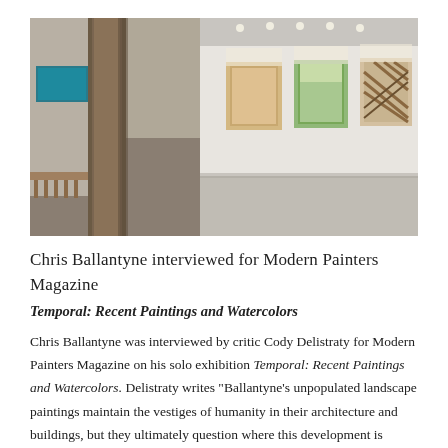[Figure (photo): Interior view of an art gallery showing white walls with paintings hung, wooden structural columns, a slatted wooden bench, and concrete floor. Three paintings visible on the right wall and one teal painting visible through a doorway on the left.]
Chris Ballantyne interviewed for Modern Painters Magazine
Temporal: Recent Paintings and Watercolors
Chris Ballantyne was interviewed by critic Cody Delistraty for Modern Painters Magazine on his solo exhibition Temporal: Recent Paintings and Watercolors. Delistraty writes "Ballantyne's unpopulated landscape paintings maintain the vestiges of humanity in their architecture and buildings, but they ultimately question where this development is